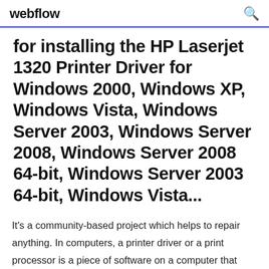webflow
for installing the HP Laserjet 1320 Printer Driver for Windows 2000, Windows XP, Windows Vista, Windows Server 2003, Windows Server 2008, Windows Server 2008 64-bit, Windows Server 2003 64-bit, Windows Vista...
It's a community-based project which helps to repair anything. In computers, a printer driver or a print processor is a piece of software on a computer that converts the data to be printed to a format that a printer can understand.